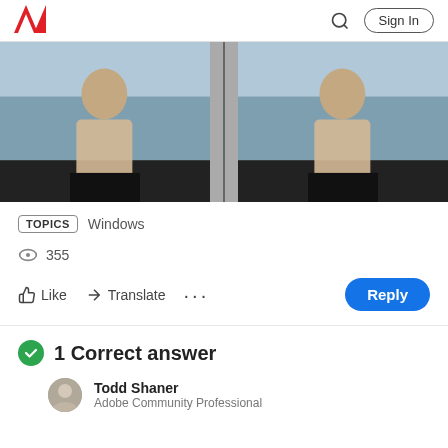Adobe logo | Search | Sign In
[Figure (photo): Side-by-side comparison of a woman standing outdoors near a waterfront with a city skyline. Left image appears slightly different from the right, with a gray divider in the middle.]
TOPICS  Windows
355
Like  Translate  ...  Reply
1 Correct answer
Todd Shaner
Adobe Community Professional